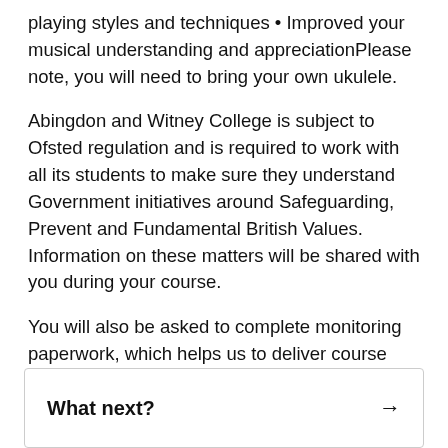playing styles and techniques • Improved your musical understanding and appreciationPlease note, you will need to bring your own ukulele.
Abingdon and Witney College is subject to Ofsted regulation and is required to work with all its students to make sure they understand Government initiatives around Safeguarding, Prevent and Fundamental British Values. Information on these matters will be shared with you during your course.
You will also be asked to complete monitoring paperwork, which helps us to deliver course content to the highest quality.
What next? →